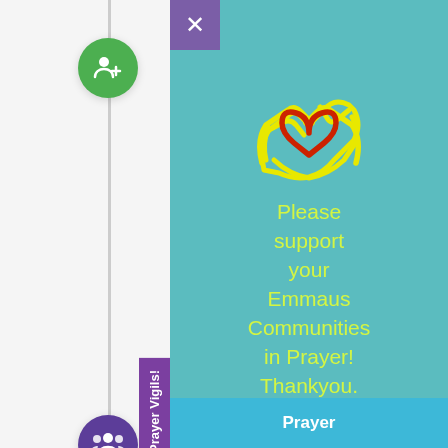Northern Inland Emmaus Community Established
Current Status: Active
July 1990
Chrysalis Established
Currently 5 communities running states.
August 1990
Canberra/Monaro Emmaus Established
[Figure (illustration): Teal overlay panel with heart-in-hands icon (red heart, yellow hands), yellow-green text 'Please support your Emmaus Communities in Prayer! Thankyou.' and a blue Prayer button at the bottom. Purple close X button in top-left corner.]
Prayer Vigils!
Prayer